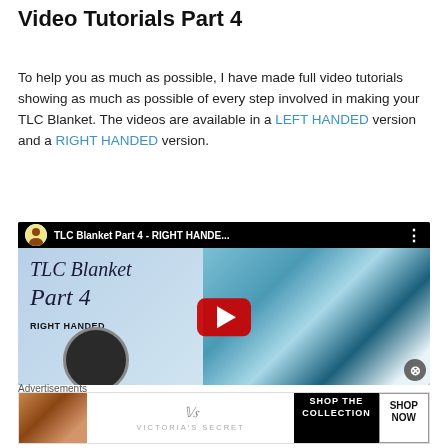Video Tutorials Part 4
To help you as much as possible, I have made full video tutorials showing as much as possible of every step involved in making your TLC Blanket. The videos are available in a LEFT HANDED version and a RIGHT HANDED version.
[Figure (screenshot): YouTube video thumbnail for TLC Blanket Part 4 - RIGHT HANDED crochet tutorial, showing blue script text on left and crochet blanket photo on right, with red YouTube play button in center]
Advertisements
[Figure (screenshot): Victoria's Secret advertisement banner with woman on left, VS logo and brand name in center, SHOP THE COLLECTION text with SHOP NOW button on right]